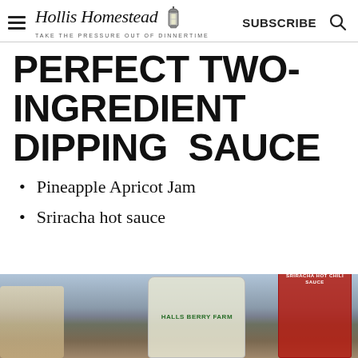Hollis Homestead — TAKE THE PRESSURE OUT OF DINNERTIME — SUBSCRIBE
PERFECT TWO-INGREDIENT DIPPING SAUCE
Pineapple Apricot Jam
Sriracha hot sauce
[Figure (photo): Photo of a jar of Halls Berry Farm jam and a bottle of Sriracha hot chili sauce on a wooden surface]